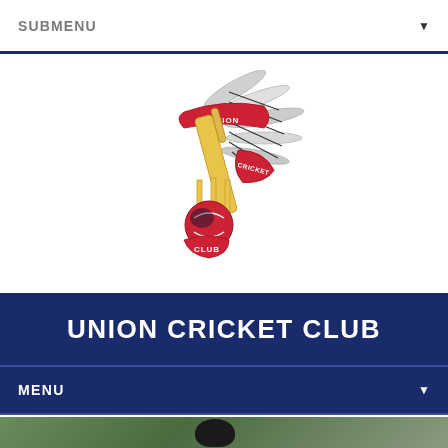SUBMENU
[Figure (logo): Union Cricket Club crest logo featuring a winged cricket bat, ball, stumps and ribbons with text UNION CRICKET CLUB]
UNION CRICKET CLUB
MENU
SHIELDS SCORES 106
[Figure (photo): Partial photo of a cricket player wearing a helmet at the bottom of the page]